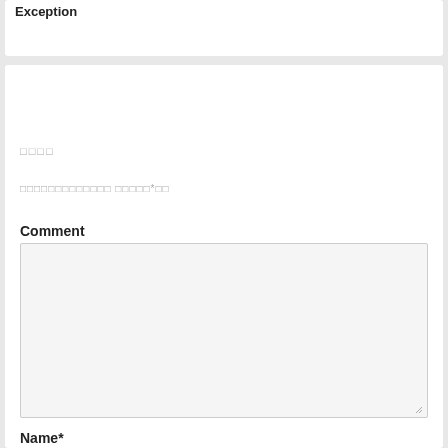Exception
□□□□
□□□□□□□□□□□□□ □□□□□*□□
Comment
[Figure (other): Empty textarea input field with resize handle]
Name*
Jane Doe